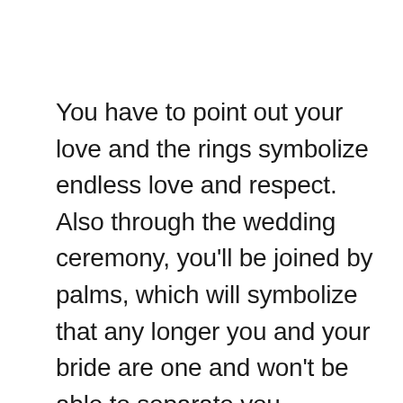You have to point out your love and the rings symbolize endless love and respect. Also through the wedding ceremony, you'll be joined by palms, which will symbolize that any longer you and your bride are one and won't be able to separate you. Nowadays there are conventional white clothes all around the world, but these girls historically wear blue dresses that are very fashionable with many men. The Irish bride makes their very own bouquet and typically she additionally wears a crown to point out that she may be very female. Once upon a time, ladies's attire also had horseshoes as a result of Irish brides were thought to bring happiness to a younger couple. There are more females than